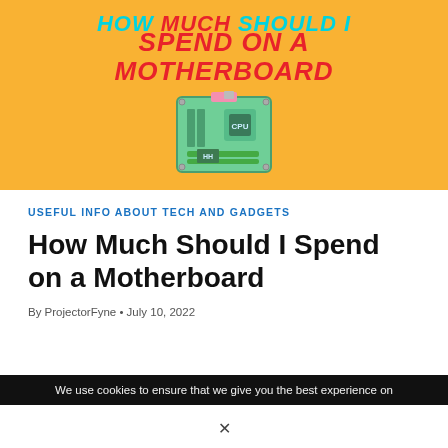[Figure (illustration): Orange banner with bold italic text 'HOW MUCH SHOULD I SPEND ON A MOTHERBOARD' in cyan and red, with a cartoon motherboard illustration below the text]
USEFUL INFO ABOUT TECH AND GADGETS
How Much Should I Spend on a Motherboard
By ProjectorFyne • July 10, 2022
We use cookies to ensure that we give you the best experience on